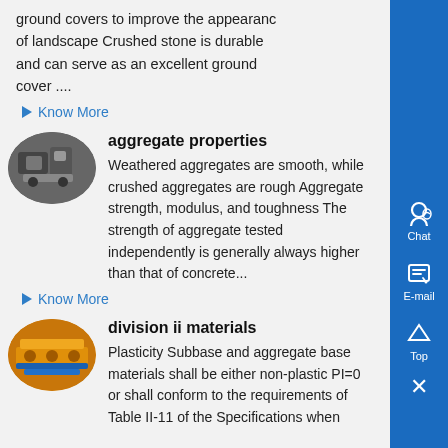ground covers to improve the appearance of landscape Crushed stone is durable and can serve as an excellent ground cover ....
Know More
[Figure (photo): Oval thumbnail image of industrial aggregate/stone processing equipment]
aggregate properties
Weathered aggregates are smooth, while crushed aggregates are rough Aggregate strength, modulus, and toughness The strength of aggregate tested independently is generally always higher than that of concrete...
Know More
[Figure (photo): Oval thumbnail image of industrial machine/conveyor equipment with orange and blue colors]
division ii materials
Plasticity Subbase and aggregate base materials shall be either non-plastic PI=0 or shall conform to the requirements of Table II-11 of the Specifications when